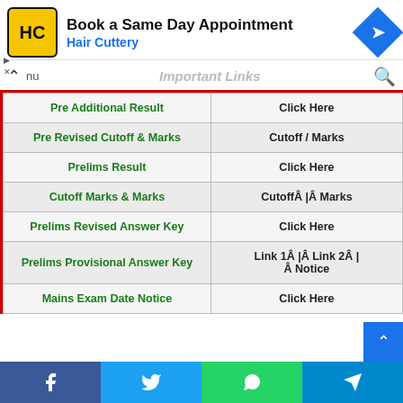[Figure (screenshot): Advertisement banner for Hair Cuttery - Book a Same Day Appointment]
Important Links
|  |  |
| --- | --- |
| Pre Additional Result | Click Here |
| Pre Revised Cutoff & Marks | Cutoff / Marks |
| Prelims Result | Click Here |
| Cutoff Marks & Marks | CutoffÂ |Â Marks |
| Prelims Revised Answer Key | Click Here |
| Prelims Provisional Answer Key | Link 1Â |Â Link 2Â | Â Notice |
| Mains Exam Date Notice | Click Here |